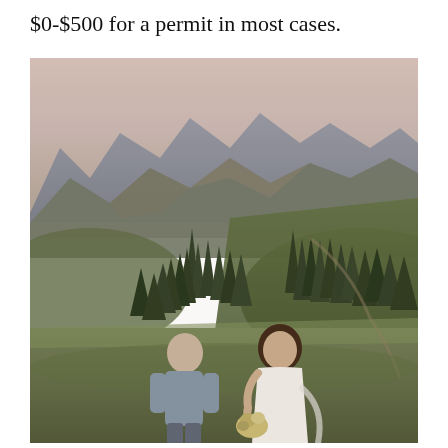$0-$500 for a permit in most cases.
[Figure (photo): A couple standing on a mountain hillside with tall evergreen trees and misty mountain peaks in the background. The man on the left wears a gray shirt, and the woman on the right wears a white dress and holds a bouquet of wildflowers. The lighting is soft with a hazy sky.]